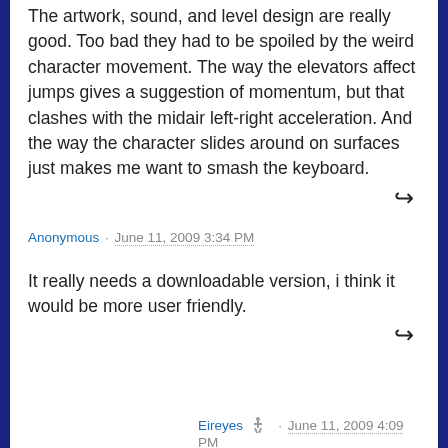The artwork, sound, and level design are really good. Too bad they had to be spoiled by the weird character movement. The way the elevators affect jumps gives a suggestion of momentum, but that clashes with the midair left-right acceleration. And the way the character slides around on surfaces just makes me want to smash the keyboard.
↪ (reply icon)
Anonymous · June 11, 2009 3:34 PM
It really needs a downloadable version, i think it would be more user friendly.
↪ (reply icon)
Eireyes [icon] · June 11, 2009 4:09 PM
I love everything about the game except the